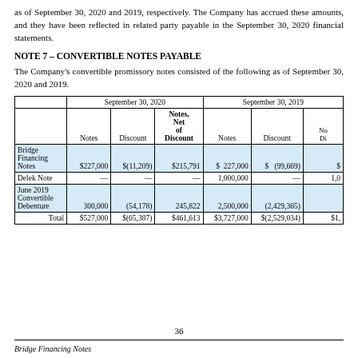as of September 30, 2020 and 2019, respectively. The Company has accrued these amounts, and they have been reflected in related party payable in the September 30, 2020 financial statements.
NOTE 7 – CONVERTIBLE NOTES PAYABLE
The Company's convertible promissory notes consisted of the following as of September 30, 2020 and 2019.
|  | September 30, 2020 - Notes | September 30, 2020 - Discount | September 30, 2020 - Notes Net of Discount | September 30, 2019 - Notes | September 30, 2019 - Discount | September 30, 2019 - No Di |
| --- | --- | --- | --- | --- | --- | --- |
| Bridge Financing Notes | $227,000 | $(11,209) | $215,791 | $ 227,000 | $ (99,669) | $ |
| Delek Note | — | — | — | 1,000,000 | — | 1,0 |
| June 2019 Convertible Debenture | 300,000 | (54,178) | 245,822 | 2,500,000 | (2,429,365) |  |
| Total | $527,000 | $(65,387) | $461,613 | $3,727,000 | $(2,529,034) | $1, |
36
Bridge Financing Notes